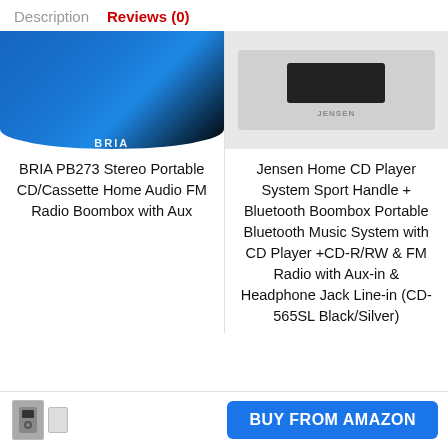Description   Reviews (0)
[Figure (photo): BRIA PB273 blue portable CD/cassette boombox product photo, top portion visible]
[Figure (photo): Jensen Home CD Player system, gray/silver boombox product photo, top portion visible]
BRIA PB273 Stereo Portable CD/Cassette Home Audio FM Radio Boombox with Aux
Jensen Home CD Player System Sport Handle + Bluetooth Boombox Portable Bluetooth Music System with CD Player +CD-R/RW & FM Radio with Aux-in & Headphone Jack Line-in (CD-565SL Black/Silver)
[Figure (photo): Small product thumbnail of a home audio system]
BUY FROM AMAZON